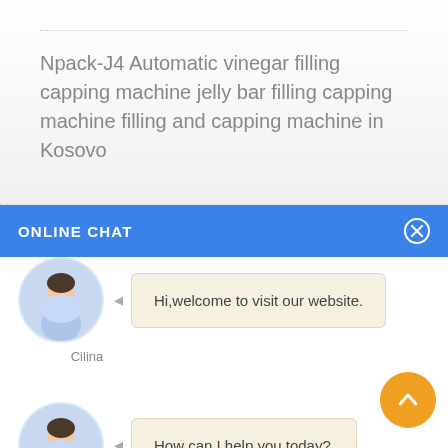Npack-J4 Automatic vinegar filling capping machine jelly bar filling capping machine filling and capping machine in Kosovo
ONLINE CHAT
[Figure (illustration): Chat agent avatar - woman in light blue shirt named Cilina]
Hi,welcome to visit our website.
Cilina
[Figure (illustration): Chat agent avatar - woman in light blue shirt named Cilina]
How can I help you today?
Cilina